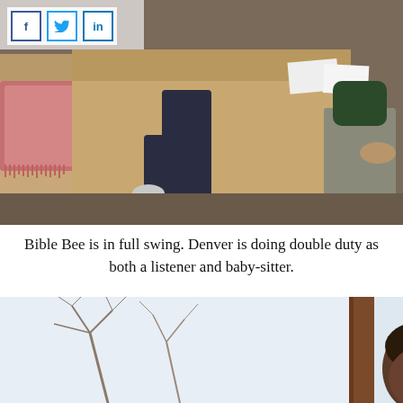[Figure (photo): Social sharing buttons: Facebook (f), Twitter (bird icon), LinkedIn (in) in blue outlined boxes]
[Figure (photo): Indoor photo showing people sitting on a couch/floor during what appears to be a Bible Bee study session. A person wearing dark jeans and flat shoes is seated on a couch; another person is kneeling on the floor to the right. Papers on the couch.]
Bible Bee is in full swing. Denver is doing double duty as both a listener and baby-sitter.
[Figure (photo): Photo of a young man (Denver) near a window with bare trees visible outside; brown door frame visible on the right.]